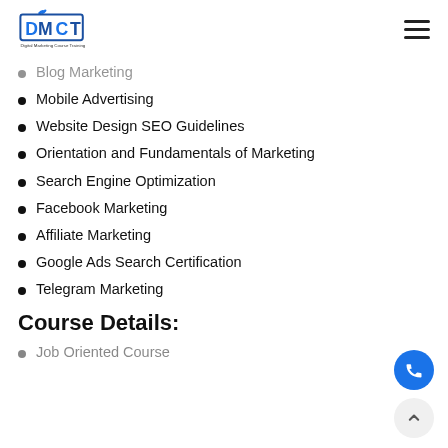DMCT - Digital Marketing Course Training
Blog Marketing
Mobile Advertising
Website Design SEO Guidelines
Orientation and Fundamentals of Marketing
Search Engine Optimization
Facebook Marketing
Affiliate Marketing
Google Ads Search Certification
Telegram Marketing
Course Details:
Job Oriented Course